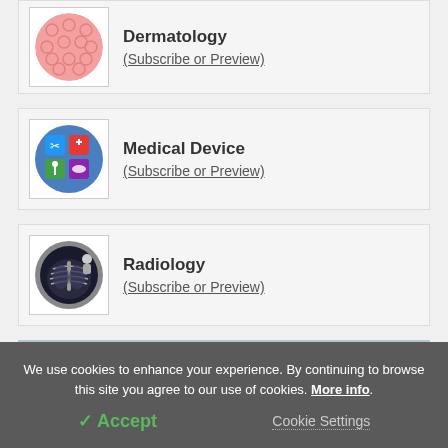[Figure (illustration): Dermatology circular icon showing pink skin texture pattern]
Dermatology
(Subscribe or Preview)
[Figure (illustration): Medical Device circular icon showing various medical device icons on colored squares]
Medical Device
(Subscribe or Preview)
[Figure (photo): Radiology circular icon showing doctor reviewing chest X-ray]
Radiology
(Subscribe or Preview)
We use cookies to enhance your experience. By continuing to browse this site you agree to our use of cookies. More info.
✓ Accept
Cookie Settings